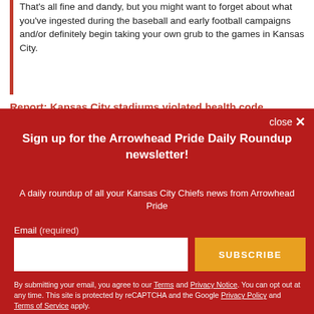That's all fine and dandy, but you might want to forget about what you've ingested during the baseball and early football campaigns and/or definitely begin taking your own grub to the games in Kansas City.
Report: Kansas City stadiums violated health code
Sign up for the Arrowhead Pride Daily Roundup newsletter!
A daily roundup of all your Kansas City Chiefs news from Arrowhead Pride
Email (required)
SUBSCRIBE
By submitting your email, you agree to our Terms and Privacy Notice. You can opt out at any time. This site is protected by reCAPTCHA and the Google Privacy Policy and Terms of Service apply.